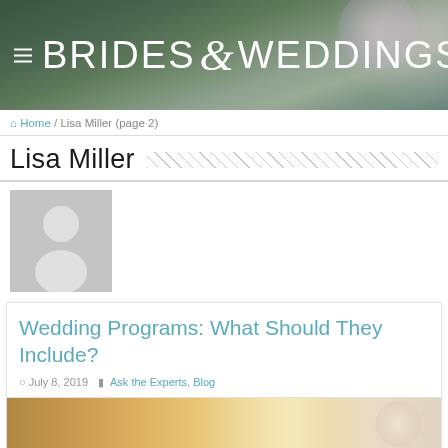[Figure (photo): Brides & Weddings website header banner with floral background and site logo text]
Home / Lisa Miller (page 2)
Lisa Miller
[Figure (photo): Grey placeholder avatar silhouette for author Lisa Miller]
Wedding Programs: What Should They Include?
July 8, 2019  Ask the Experts, Blog
[Figure (photo): Partial photo of wedding items on a wooden surface with a rose]